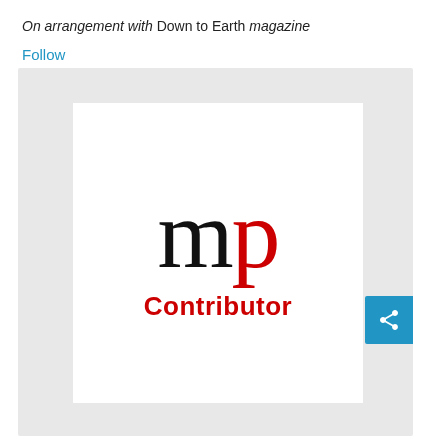On arrangement with Down to Earth magazine
Follow
[Figure (logo): mp Contributor logo — 'mp' in large serif font (m in black, p in red) above the word 'Contributor' in bold red sans-serif text, displayed on a white card with light grey background]
[Figure (other): Blue share button with '<' shaped share icon on the right edge of the card]